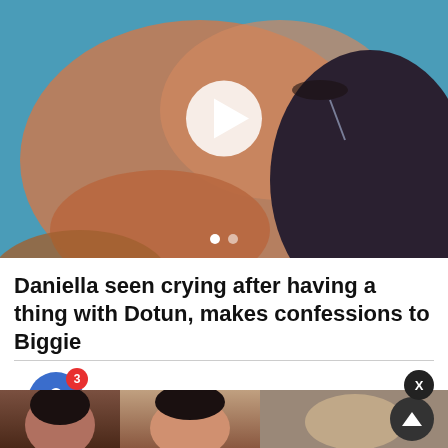[Figure (screenshot): Video thumbnail showing a person crying, with a white play button overlay and two carousel indicator dots at the bottom]
Daniella seen crying after having a thing with Dotun, makes confessions to Biggie
[Figure (screenshot): Notification popup showing: 'Daniella seen crying after having a thing with Dotun,' with timestamp '54 minutes ago', alongside a notification bell icon with badge '3', a close X button, and a bottom strip of thumbnails with a scroll-up button]